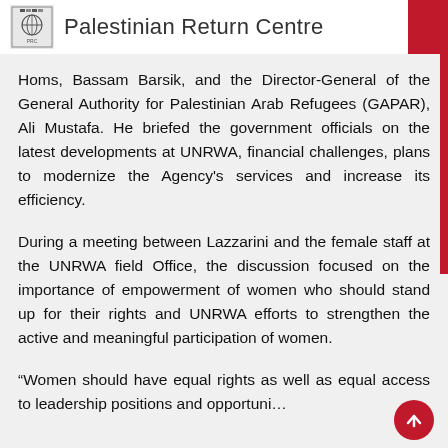Palestinian Return Centre
Homs, Bassam Barsik, and the Director-General of the General Authority for Palestinian Arab Refugees (GAPAR), Ali Mustafa. He briefed the government officials on the latest developments at UNRWA, financial challenges, plans to modernize the Agency's services and increase its efficiency.
During a meeting between Lazzarini and the female staff at the UNRWA field Office, the discussion focused on the importance of empowerment of women who should stand up for their rights and UNRWA efforts to strengthen the active and meaningful participation of women.
“Women should have equal rights as well as equal access to leadership positions and opportuni… Lazzarini underlined. “Efforts to build a mode…